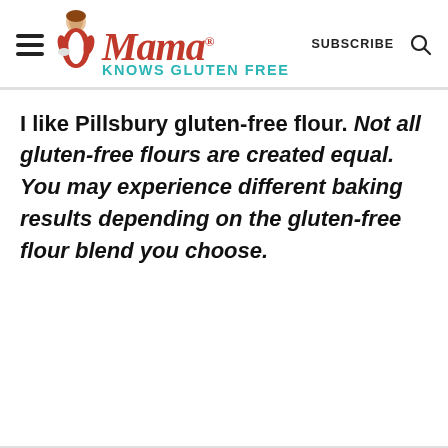Mama® Knows Gluten Free — SUBSCRIBE
I like Pillsbury gluten-free flour. Not all gluten-free flours are created equal. You may experience different baking results depending on the gluten-free flour blend you choose.